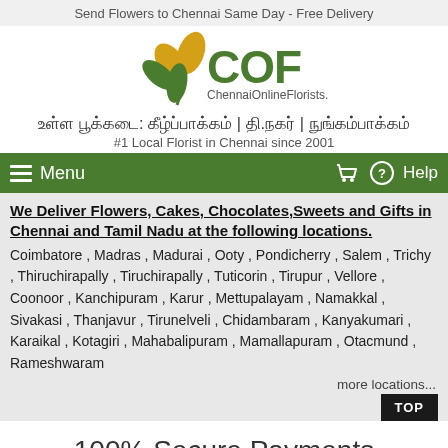Send Flowers to Chennai Same Day - Free Delivery
[Figure (logo): COF Chennai Online Florists logo with flower graphic and text ChennaiOnlineFlorists.com]
உள்ள பூக்கடை: கீழ்ப்பாக்கம் | தி.நகர் | நுங்கம்பாக்கம்
#1 Local Florist in Chennai since 2001
Menu | Help
We Deliver Flowers, Cakes, Chocolates, Sweets and Gifts in Chennai and Tamil Nadu at the following locations.
Coimbatore , Madras , Madurai , Ooty , Pondicherry , Salem , Trichy , Thiruchirapally , Tiruchirapally , Tuticorin , Tirupur , Vellore , Coonoor , Kanchipuram , Karur , Mettupalayam , Namakkal , Sivakasi , Thanjavur , Tirunelveli , Chidambaram , Kanyakumari , Karaikal , Kotagiri , Mahabalipuram , Mamallapuram , Otacmund , Rameshwaram
more locations...
100% Secure Payments
We respect your Privacy. payment is through Secure Payment gateway. www.ccavenue.com/ Securpay Eaznet.co.in which is